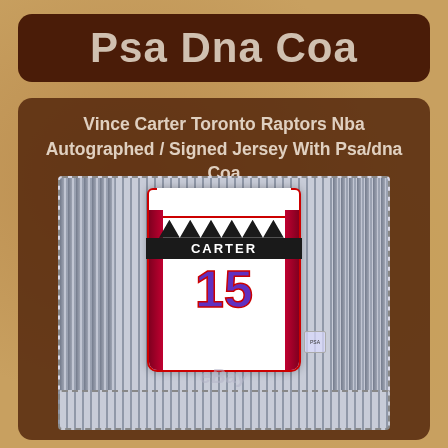Psa Dna Coa
Vince Carter Toronto Raptors Nba Autographed / Signed Jersey With Psa/dna Coa
[Figure (photo): Vince Carter Toronto Raptors #15 white pinstripe NBA jersey autographed and signed, displayed flat with pinstripe fabric draped on sides, shown in a dashed-border frame. eBay watermark visible. PSA/DNA authentication sticker on right side of jersey.]
[Figure (photo): Bottom partial view of another framed jersey item, showing dashed border and pinstripe fabric, partially cut off at bottom of page.]